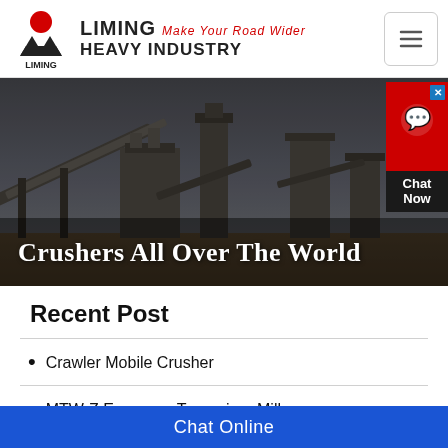LIMING Make Your Road Wider HEAVY INDUSTRY
[Figure (photo): Industrial crusher plant machinery at a quarry site, dark moody sky background]
Crushers All Over The World
Recent Post
Crawler Mobile Crusher
MTW-Z European Trapezium-Mill
K Series Mobile Crushing Plant
Chat Online